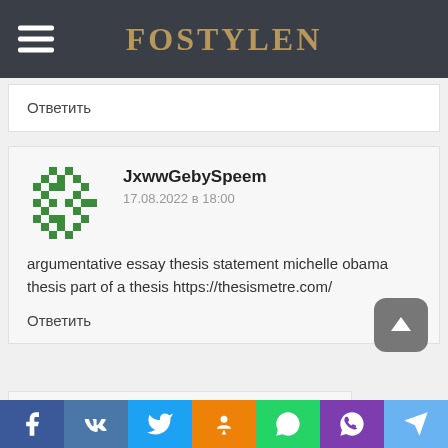FOSTYLEN
Ответить
JxwwGebySpeem
17.08.2022 в 18:00
argumentative essay thesis statement michelle obama thesis part of a thesis https://thesismetre.com/
Ответить
EcrSpeem